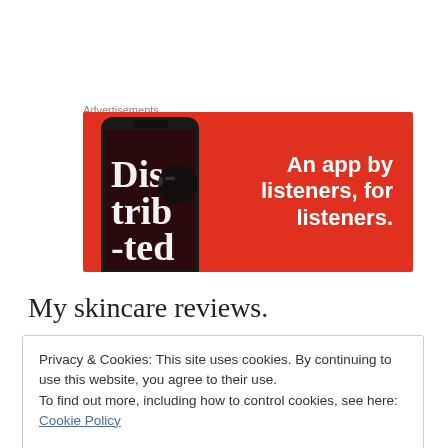Advertisements
[Figure (illustration): Red advertisement banner for a podcast/audio app showing a smartphone with 'Dis-trib-ted' text on screen and white bold text reading 'An app by listeners, for listeners.']
My skincare reviews.
Privacy & Cookies: This site uses cookies. By continuing to use this website, you agree to their use.
To find out more, including how to control cookies, see here: Cookie Policy
Close and accept